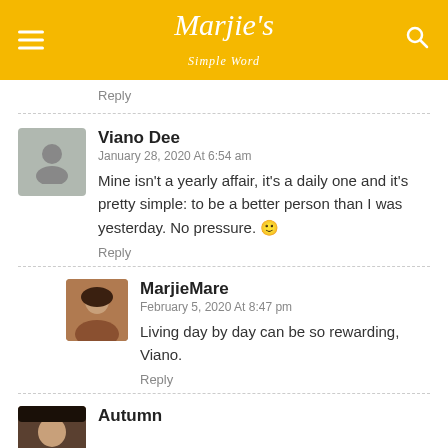Marjie's Simple Word
Reply
Viano Dee
January 28, 2020 At 6:54 am
Mine isn't a yearly affair, it's a daily one and it's pretty simple: to be a better person than I was yesterday. No pressure. 🙂
Reply
MarjieMare
February 5, 2020 At 8:47 pm
Living day by day can be so rewarding, Viano.
Reply
Autumn